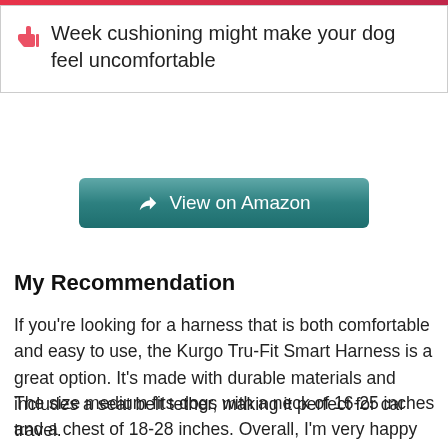Week cushioning might make your dog feel uncomfortable
View on Amazon
My Recommendation
If you're looking for a harness that is both comfortable and easy to use, the Kurgo Tru-Fit Smart Harness is a great option. It's made with durable materials and includes a seat belt tether, making it perfect for car travel.
The size medium fits dogs with a neck of 16-25 inches and a chest of 18-28 inches. Overall, I'm very happy with this harness and would recommend this